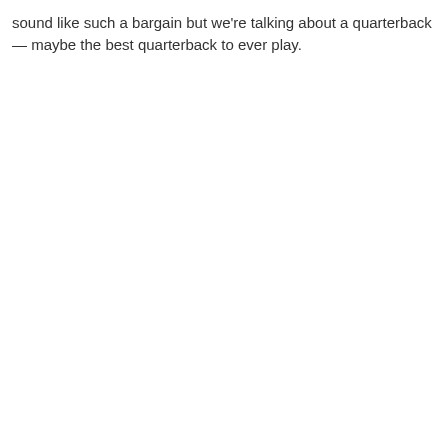sound like such a bargain but we're talking about a quarterback — maybe the best quarterback to ever play.